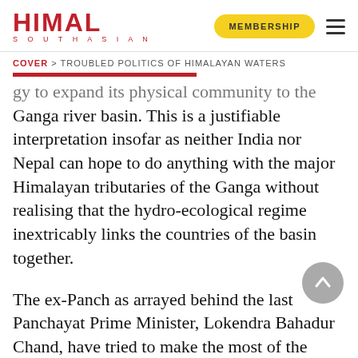HIMAL SOUTHASIAN | MEMBERSHIP
COVER > TROUBLED POLITICS OF HIMALAYAN WATERS
...gy to expand its physical community to the Ganga river basin. This is a justifiable interpretation insofar as neither India nor Nepal can hope to do anything with the major Himalayan tributaries of the Ganga without realising that the hydro-ecological regime inextricably links the countries of the basin together.
The ex-Panch as arrayed behind the last Panchayat Prime Minister, Lokendra Bahadur Chand, have tried to make the most of the